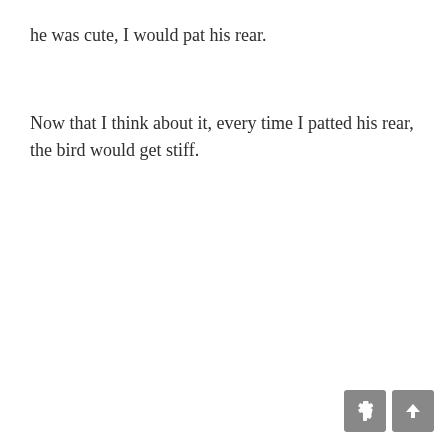he was cute, I would pat his rear.
Now that I think about it, every time I patted his rear, the bird would get stiff.